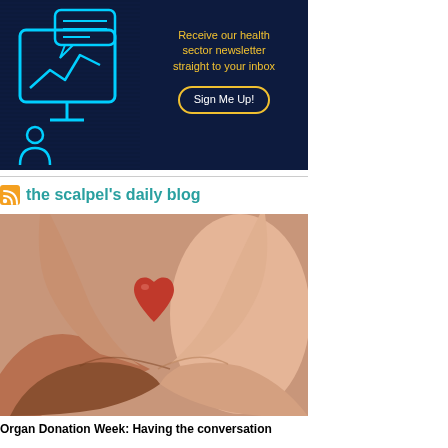[Figure (infographic): Dark navy background newsletter sign-up banner with neon blue computer/chart icon on the left and yellow/gold text reading 'Receive our health sector newsletter straight to your inbox' with a 'Sign Me Up!' button with gold border]
the scalpel's daily blog
[Figure (photo): Multiple hands of different skin tones cupped together holding a small red heart shape, representing organ donation]
Organ Donation Week: Having the conversation